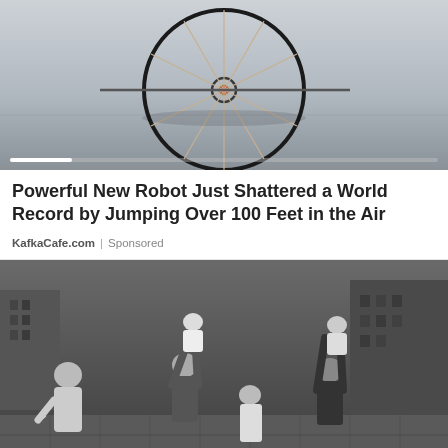[Figure (photo): Black and white photo of a spinning wheel or bicycle wheel-like structure against a gray gradient background, with a video progress bar at the bottom]
Powerful New Robot Just Shattered a World Record by Jumping Over 100 Feet in the Air
KafkaCafe.com | Sponsored
[Figure (photo): Black and white historical photograph showing people standing at what appears to be the Berlin Wall, with adults lifting babies or small children over the wall toward the other side]